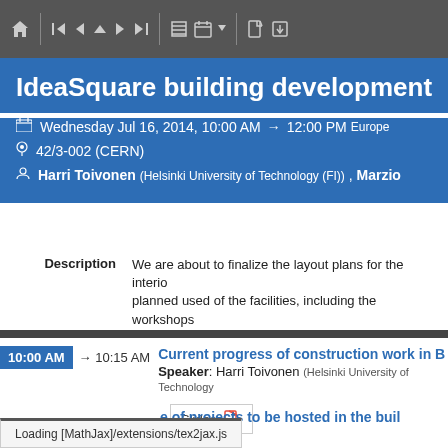[Figure (screenshot): Web browser toolbar with navigation icons on dark grey background]
IdeaSquare building development
Wednesday Jul 16, 2014, 10:00 AM → 12:00 PM Europe/...
42/3-002 (CERN)
Harri Toivonen (Helsinki University of Technology (FI)) , Marzio ...
Description   We are about to finalize the layout plans for the interior planned used of the facilities, including the workshops support.
10:00 AM → 10:15 AM   Current progress of construction work in B...
Speaker: Harri Toivonen (Helsinki University of Technology...
Slides
Loading [MathJax]/extensions/tex2jax.js